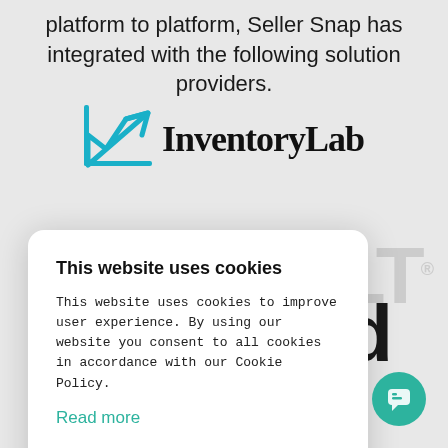platform to platform, Seller Snap has integrated with the following solution providers.
[Figure (logo): InventoryLab logo — a teal stylized chart icon with an upward arrow followed by bold black text 'InventoryLab']
[Figure (screenshot): Cookie consent modal overlay with title 'This website uses cookies', body text about cookie policy, a 'Read more' link in teal, and two buttons: 'ACCEPT ALL' (green) and 'DECLINE ALL' (purple). Behind the modal are partial watermark letters 'LT' and 'nd' from other logos.]